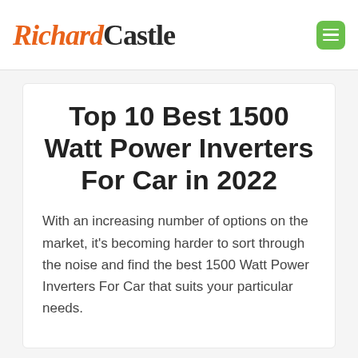Richard Castle
Top 10 Best 1500 Watt Power Inverters For Car in 2022
With an increasing number of options on the market, it's becoming harder to sort through the noise and find the best 1500 Watt Power Inverters For Car that suits your particular needs.